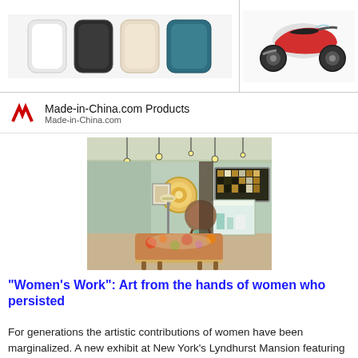[Figure (photo): Ad banner showing product color swatches (phone cases or similar items in white, dark gray, cream, and teal colors) on the left panel, and a red scooter/motorcycle on the right panel]
Made-in-China.com Products
Made-in-China.com
[Figure (photo): Interior of an art gallery with teal/green walls, track lighting with hanging bulbs, artworks on walls including a circular mandala-like piece and a large dark mosaic, a display case with ceramics, a round woven chair, and a colorful tapestry-covered ottoman in the foreground]
"Women's Work": Art from the hands of women who persisted
For generations the artistic contributions of women have been marginalized. A new exhibit at New York's Lyndhurst Mansion featuring female artists past and present allows us